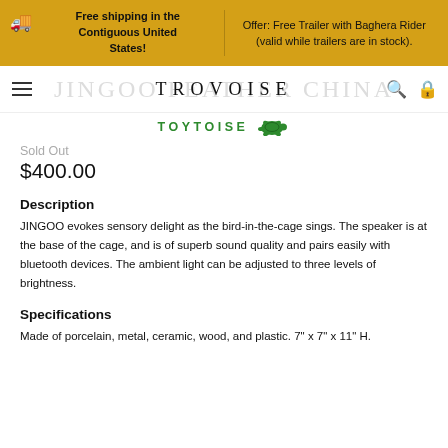Free shipping in the Contiguous United States! | Offer: Free Trailer with Baghera Rider (valid while trailers are in stock).
TROVOISE
[Figure (logo): TOYTOISE logo with turtle icon in green]
Sold Out
$400.00
Description
JINGOO evokes sensory delight as the bird-in-the-cage sings. The speaker is at the base of the cage, and is of superb sound quality and pairs easily with bluetooth devices. The ambient light can be adjusted to three levels of brightness.
Specifications
Made of porcelain, metal, ceramic, wood, and plastic. 7" x 7" x 11" H.